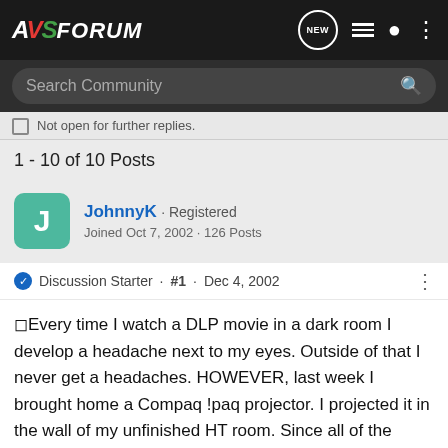AVS FORUM
Not open for further replies.
1 - 10 of 10 Posts
JohnnyK · Registered
Joined Oct 7, 2002 · 126 Posts
Discussion Starter · #1 · Dec 4, 2002
□Every time I watch a DLP movie in a dark room I develop a headache next to my eyes. Outside of that I never get a headaches. HOWEVER, last week I brought home a Compaq !paq projector. I projected it in the wall of my unfinished HT room. Since all of the walls and ceiling are primer white, there was a lot of reflected light (ambient light). Even though the image d... wonder if the re... ause
[Figure (screenshot): SVS SoundPath Audio Accessories advertisement banner with learn more button]